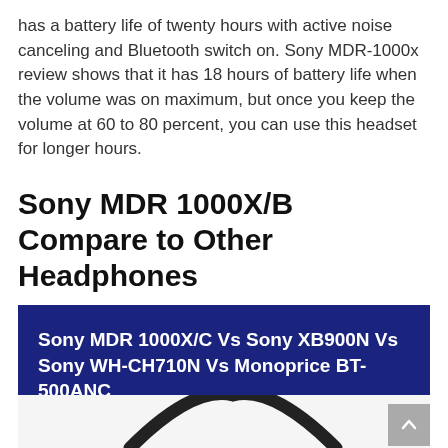has a battery life of twenty hours with active noise canceling and Bluetooth switch on. Sony MDR-1000x review shows that it has 18 hours of battery life when the volume was on maximum, but once you keep the volume at 60 to 80 percent, you can use this headset for longer hours.
Sony MDR 1000X/B Compare to Other Headphones
[Figure (infographic): Dark blue banner with white bold text reading: Sony MDR 1000X/C Vs Sony XB900N Vs Sony WH-CH710N Vs Monoprice BT-500ANC]
[Figure (photo): Partial view of a headphone arc/headband on a white background, with a grey scroll-to-top button in the upper right corner.]